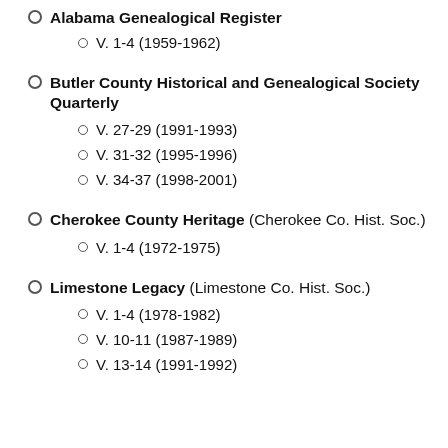Alabama Genealogical Register
V. 1-4 (1959-1962)
Butler County Historical and Genealogical Society Quarterly
V. 27-29 (1991-1993)
V. 31-32 (1995-1996)
V. 34-37 (1998-2001)
Cherokee County Heritage (Cherokee Co. Hist. Soc.)
V. 1-4 (1972-1975)
Limestone Legacy (Limestone Co. Hist. Soc.)
V. 1-4 (1978-1982)
V. 10-11 (1987-1989)
V. 13-14 (1991-1992)